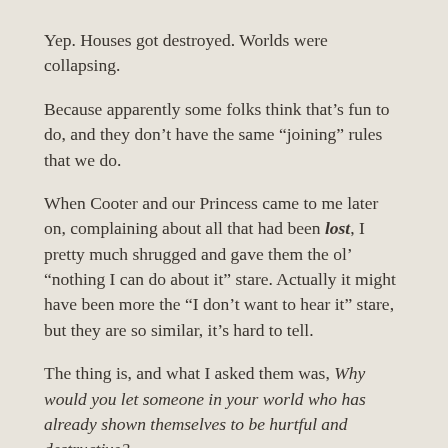Yep.  Houses got destroyed.  Worlds were collapsing.
Because apparently some folks think that’s fun to do, and they don’t have the same “joining” rules that we do.
When Cooter and our Princess came to me later on, complaining about all that had been lost, I pretty much shrugged and gave them the ol’ “nothing I can do about it” stare.  Actually it might have been more the “I don’t want to hear it” stare, but they are so similar, it’s hard to tell.
The thing is, and what I asked them was, Why would you let someone in your world who has already shown themselves to be hurtful and destructive?
Ahem.  Yes.
And so I did, being a leader in this...